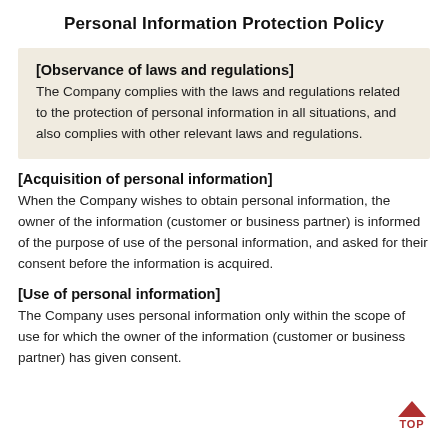Personal Information Protection Policy
[Observance of laws and regulations]
The Company complies with the laws and regulations related to the protection of personal information in all situations, and also complies with other relevant laws and regulations.
[Acquisition of personal information]
When the Company wishes to obtain personal information, the owner of the information (customer or business partner) is informed of the purpose of use of the personal information, and asked for their consent before the information is acquired.
[Use of personal information]
The Company uses personal information only within the scope of use for which the owner of the information (customer or business partner) has given consent.